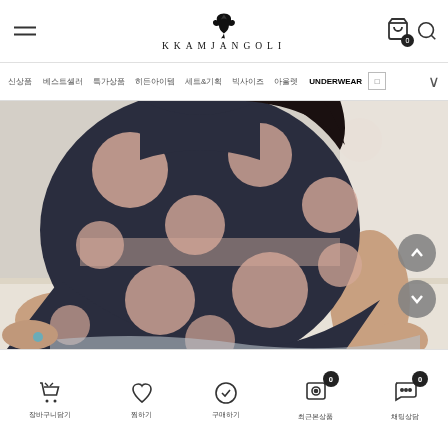KKAMJANGOLI — mobile e-commerce header with hamburger menu and logo
[Figure (screenshot): Navigation bar with Korean category labels: 신상품, 베스트셀러, 특가상품, 히든아이템, 세트&기획, 빅사이즈, 아울렛, UNDERWEAR, and a chevron dropdown]
[Figure (photo): Model wearing a dark navy polka dot dress with large pink/nude circles, seated pose, cropped view of torso and legs on a light beige bench background]
Bottom navigation bar with icons: 장바구니담기, 찜하기, 구매하기, 최근본상품, 채팅상담